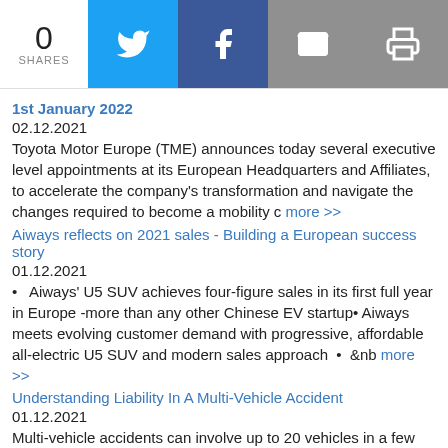0 SHARES
1st January 2022
02.12.2021
Toyota Motor Europe (TME) announces today several executive level appointments at its European Headquarters and Affiliates, to accelerate the company's transformation and navigate the changes required to become a mobility c more >>
Aiways reflects on 2021 sales - Building a European success story
01.12.2021
Aiways' U5 SUV achieves four-figure sales in its first full year in Europe -more than any other Chinese EV startup• Aiways meets evolving customer demand with progressive, affordable all-electric U5 SUV and modern sales approach • &nb more >>
Understanding Liability In A Multi-Vehicle Accident
01.12.2021
Multi-vehicle accidents can involve up to 20 vehicles in a few seconds. They can have traumatic repercussions, especially on busy highways where the speed limits are faster. Traffic pile-ups can be deadly for everyone more >>
Lexus unveils ON/ at Design Miami/ 2021
01.12.2021
Installation by Germane Barnes and the University of Miami